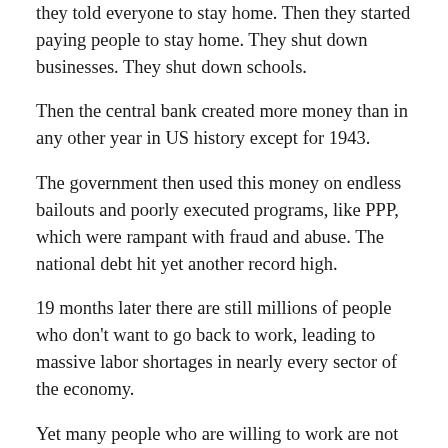they told everyone to stay home. Then they started paying people to stay home. They shut down businesses. They shut down schools.
Then the central bank created more money than in any other year in US history except for 1943.
The government then used this money on endless bailouts and poorly executed programs, like PPP, which were rampant with fraud and abuse. The national debt hit yet another record high.
19 months later there are still millions of people who don't want to go back to work, leading to massive labor shortages in nearly every sector of the economy.
Yet many people who are willing to work are not allowed to do so because they're not vaccinated.
This is basically Elizabeth's Statute of Apprentices all over again. It's just bad priorities, bad ideas, and bad execution all compounding together.